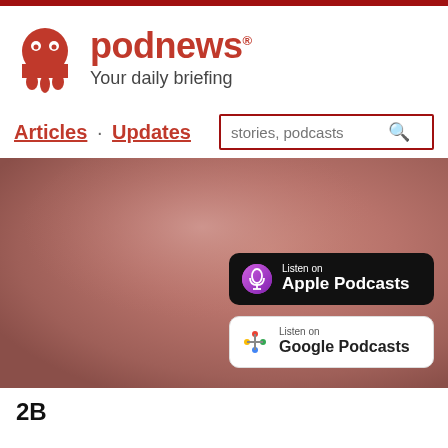[Figure (logo): Podnews logo: red ghost/headphone icon with brand name 'podnews' and tagline 'Your daily briefing']
Articles · Updates
[Figure (screenshot): Hero banner with blurred reddish-brown gradient background, showing Apple Podcasts and Google Podcasts listen badges]
2B